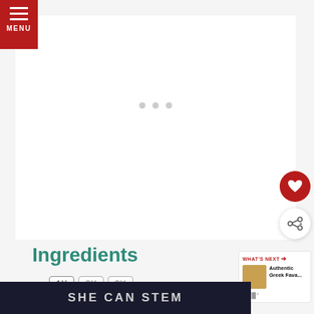[Figure (screenshot): Red MENU button with hamburger icon in top left corner]
[Figure (screenshot): White content card area with three grey dots indicator (carousel navigation)]
[Figure (screenshot): Red circular heart/favorite button on right side]
[Figure (screenshot): White circular share button on right side]
Ingredients
[Figure (screenshot): Multiplier buttons: 1X, 2X, 3X]
[Figure (screenshot): WHAT'S NEXT panel with Authentic Greek Fava... recipe thumbnail]
[Figure (screenshot): SHE CAN STEM advertisement banner at bottom]